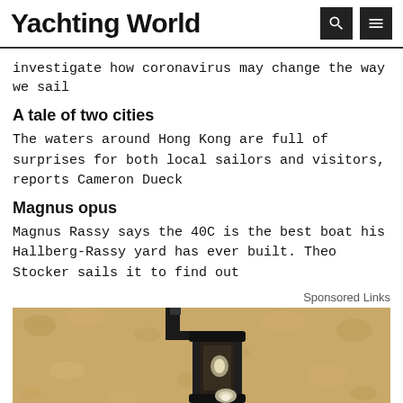Yachting World
investigate how coronavirus may change the way we sail
A tale of two cities
The waters around Hong Kong are full of surprises for both local sailors and visitors, reports Cameron Dueck
Magnus opus
Magnus Rassy says the 40C is the best boat his Hallberg-Rassy yard has ever built. Theo Stocker sails it to find out
Sponsored Links
[Figure (photo): A vintage outdoor wall lantern mounted on a textured stucco wall, photographed close-up showing dark metal housing and glass pane with a light bulb visible.]